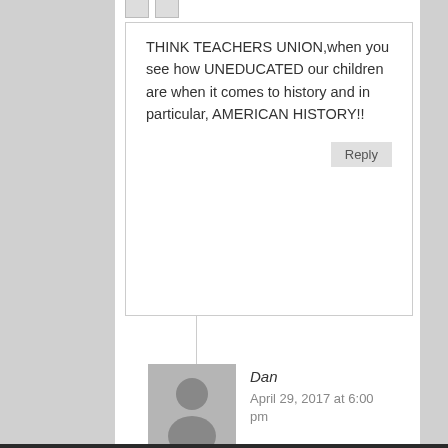THINK TEACHERS UNION,when you see how UNEDUCATED our children are when it comes to history and in particular, AMERICAN HISTORY!!
Reply
Dan
April 29, 2017 at 6:00 pm
Think Administrators with no guts. The teachers union does not agree with teachers that do not belong. Unfortunately administrators do not follow up and do am investigation of poor behavior because they don't want to rock the boat. The vast majority of teachers are good but the media focuses on those